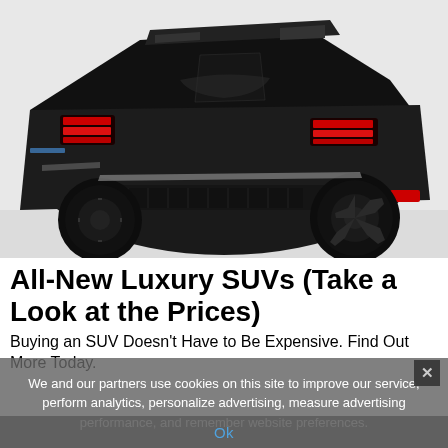[Figure (photo): Rear three-quarter view of a black Peugeot concept SUV/sports car with distinctive red LED tail lights and large angular alloy wheels on a white background]
All-New Luxury SUVs (Take a Look at the Prices)
Buying an SUV Doesn't Have to Be Expensive. Find Out More Today.
We and our partners use cookies on this site to improve our service, perform analytics, personalize advertising, measure advertising performance, and remember website preferences.
Ok